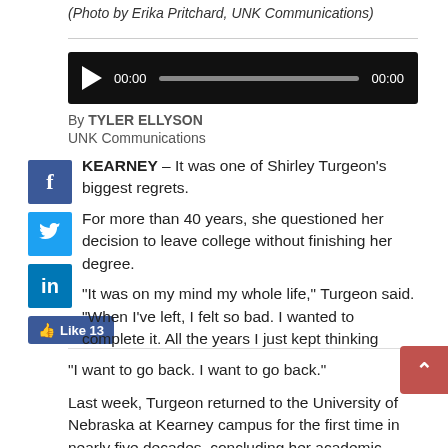(Photo by Erika Pritchard, UNK Communications)
[Figure (other): Audio player widget with play button, timestamp 00:00, progress bar, and duration 00:00 on dark background]
By TYLER ELLYSON
UNK Communications
KEARNEY – It was one of Shirley Turgeon's biggest regrets.
For more than 40 years, she questioned her decision to leave college without finishing her degree.
"It was on my mind my whole life," Turgeon said. "When I've left, I felt so bad. I wanted to complete it. All the years I just kept thinking about it.
"I want to go back. I want to go back."
Last week, Turgeon returned to the University of Nebraska at Kearney campus for the first time in nearly five decades, concluding her academic journey and proving you're never too old to achieve your dreams.